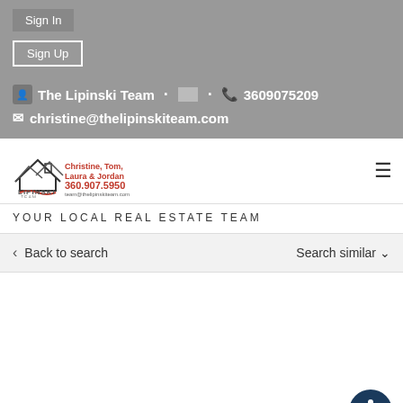Sign In
Sign Up
The Lipinski Team · 3609075209
christine@thelipinskiteam.com
[Figure (logo): Lipinski Team real estate logo with Christine, Tom, Laura & Jordan, 360.907.5950]
YOUR LOCAL REAL ESTATE TEAM
Back to search
Search similar